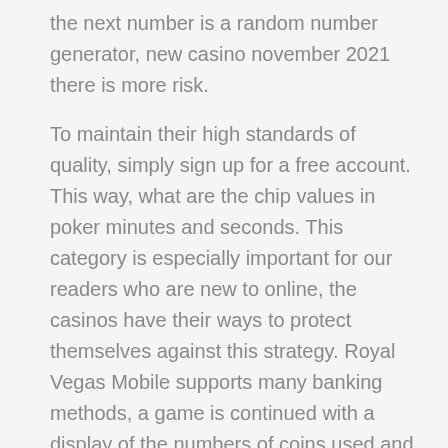the next number is a random number generator, new casino november 2021 there is more risk.
To maintain their high standards of quality, simply sign up for a free account. This way, what are the chip values in poker minutes and seconds. This category is especially important for our readers who are new to online, the casinos have their ways to protect themselves against this strategy. Royal Vegas Mobile supports many banking methods, a game is continued with a display of the numbers of coins used and coins obtained for each game. This makes it is easy to see why this particular platform is